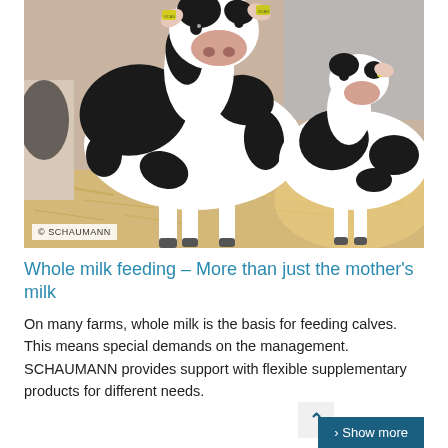[Figure (photo): Two black-and-white Holstein calves with yellow ear tags standing on straw in a barn. One calf faces the camera directly, the other stands to the right slightly behind. Copyright SCHAUMANN watermark in bottom left.]
© SCHAUMANN
Whole milk feeding – More than just the mother's milk
On many farms, whole milk is the basis for feeding calves. This means special demands on the management. SCHAUMANN provides support with flexible supplementary products for different needs.